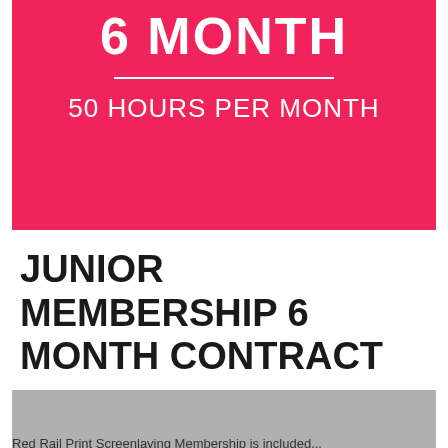6 MONTH
50 HOURS PER MONTH
JUNIOR MEMBERSHIP 6 MONTH CONTRACT
£750.00 every 6 months
[Figure (photo): Gray placeholder image at the bottom of the page, partially visible]
Red Rail Print Screenlaying Membership is included...